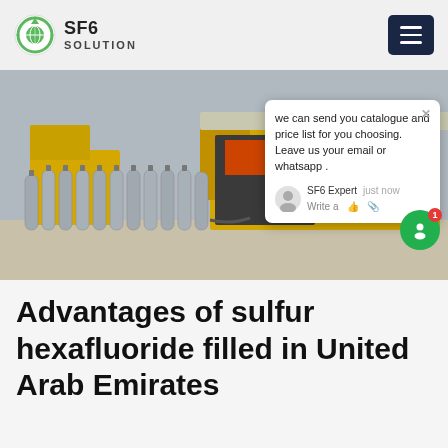SF6 SOLUTION
[Figure (photo): Industrial scene showing rows of gray SF6 gas cylinders lined up in front of a yellow service vehicle/truck at an electrical substation. A chat popup is overlaid on the right side of the image with message: 'we can send you catalogue and price list for you choosing. Leave us your email or whatsapp .' with SF6 Expert label and 'just now' timestamp.]
Advantages of sulfur hexafluoride filled in United Arab Emirates